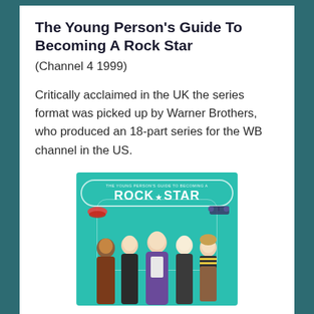The Young Person's Guide To Becoming A Rock Star
(Channel 4 1999)
Critically acclaimed in the UK the series format was picked up by Warner Brothers, who produced an 18-part series for the WB channel in the US.
[Figure (photo): DVD/promotional cover for 'The Young Person's Guide To Becoming A Rock Star' showing group of young people on a teal background with show title in rounded rectangle border]